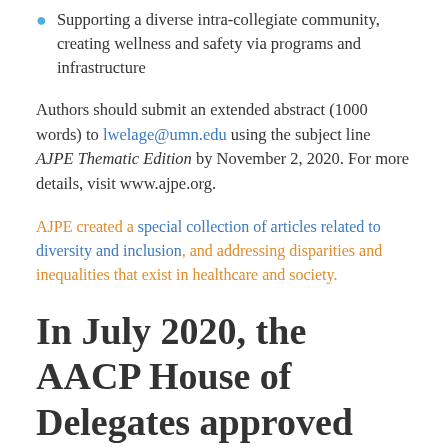Supporting a diverse intra-collegiate community, creating wellness and safety via programs and infrastructure
Authors should submit an extended abstract (1000 words) to lwelage@umn.edu using the subject line AJPE Thematic Edition by November 2, 2020. For more details, visit www.ajpe.org.
AJPE created a special collection of articles related to diversity and inclusion, and addressing disparities and inequalities that exist in healthcare and society.
In July 2020, the AACP House of Delegates approved two statements related to social justice and anti-racism: